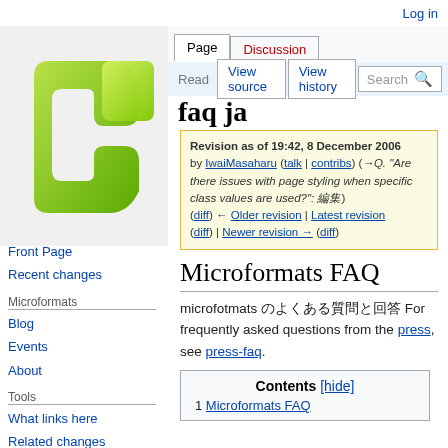Log in
[Figure (logo): Microformats wiki logo — green overlapping squares/C shapes]
Page | Discussion | Read | View source | View history | Search
faq ja (partial visible)
Revision as of 19:42, 8 December 2006 by IwaiMasaharu (talk | contribs) (→Q. "Are there issues with page styling when specific class values are used?": 編集)
(diff) ← Older revision | Latest revision (diff) | Newer revision → (diff)
Front Page
Recent changes
Microformats
Blog
Events
About
Tools
What links here
Related changes
Special pages
Printable version
Permanent link
Microformats FAQ
microfotmats のよくある質問と回答 For frequently asked questions from the press, see press-faq.
| Contents [hide] |
| --- |
| 1 Microformats FAQ |